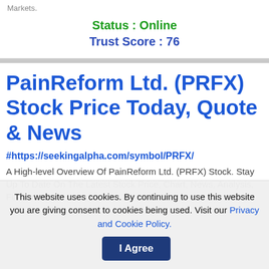Markets.
Status : Online
Trust Score : 76
PainReform Ltd. (PRFX) Stock Price Today, Quote & News
#https://seekingalpha.com/symbol/PRFX/
A High-level Overview Of PainReform Ltd. (PRFX) Stock. Stay Up To Date On The Latest Stock Price, Chart, News, Analysis, Fundamentals...
This website uses cookies. By continuing to use this website you are giving consent to cookies being used. Visit our Privacy and Cookie Policy.
I Agree